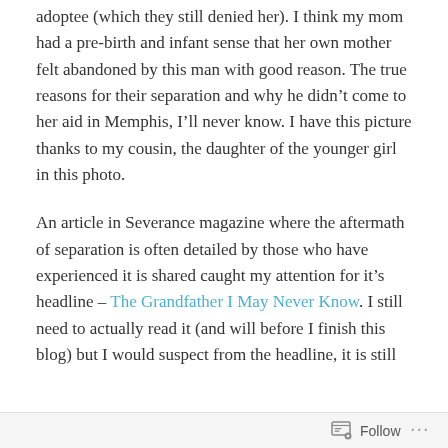adoptee (which they still denied her). I think my mom had a pre-birth and infant sense that her own mother felt abandoned by this man with good reason. The true reasons for their separation and why he didn't come to her aid in Memphis, I'll never know. I have this picture thanks to my cousin, the daughter of the younger girl in this photo.
An article in Severance magazine where the aftermath of separation is often detailed by those who have experienced it is shared caught my attention for it's headline – The Grandfather I May Never Know. I still need to actually read it (and will before I finish this blog) but I would suspect from the headline, it is still
Follow ···